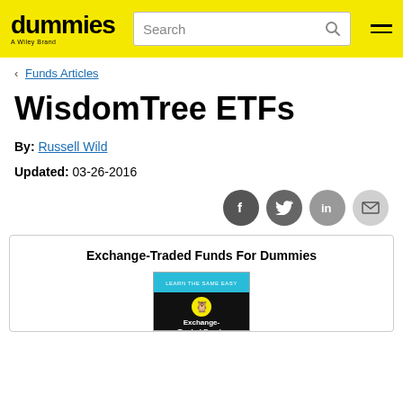dummies — A Wiley Brand | Search
< Funds Articles
WisdomTree ETFs
By: Russell Wild
Updated: 03-26-2016
[Figure (infographic): Social sharing buttons: Facebook, Twitter, LinkedIn, Email]
Exchange-Traded Funds For Dummies
[Figure (photo): Book cover: Exchange-Traded Funds For Dummies, blue and black cover with Wiley logo]